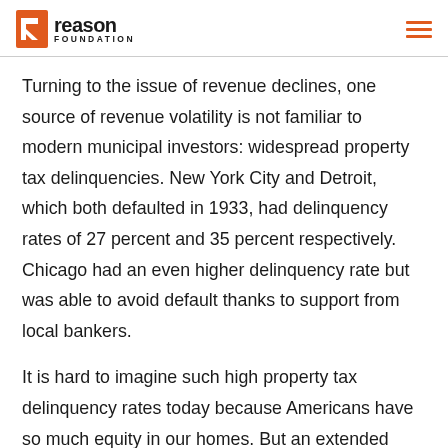Reason Foundation
Turning to the issue of revenue declines, one source of revenue volatility is not familiar to modern municipal investors: widespread property tax delinquencies. New York City and Detroit, which both defaulted in 1933, had delinquency rates of 27 percent and 35 percent respectively. Chicago had an even higher delinquency rate but was able to avoid default thanks to support from local bankers.
It is hard to imagine such high property tax delinquency rates today because Americans have so much equity in our homes. But an extended economic shutdown and long-term massive